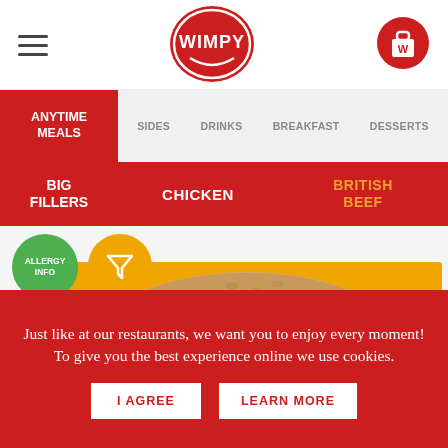[Figure (logo): Wimpy restaurant logo — red circle with WIMPY text in white, with a smaller swoosh arc below]
[Figure (logo): Wimpy shopping bag icon — red circle with white W bag graphic]
ANYTIME MEALS
SIDES
DRINKS
BREAKFAST
DESSERTS
BIG FILLERS
CHICKEN
BRITISH BEEF
[Figure (photo): Photo of a burger bun on an orange background with Allergy Info badge and filter badge]
Just like at our restaurants, we want you to enjoy every moment! To give you the best experience online we use cookies.
I AGREE
LEARN MORE